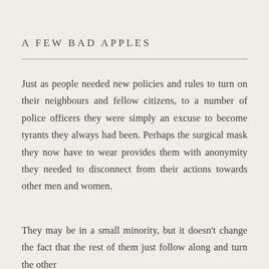A FEW BAD APPLES
Just as people needed new policies and rules to turn on their neighbours and fellow citizens, to a number of police officers they were simply an excuse to become tyrants they always had been. Perhaps the surgical mask they now have to wear provides them with anonymity they needed to disconnect from their actions towards other men and women.
They may be in a small minority, but it doesn’t change the fact that the rest of them just follow along and turn the other